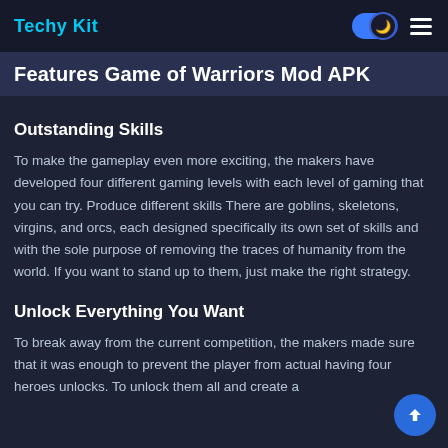Techy Kit
Features Game of Warriors Mod APK
Outstanding Skills
To make the gameplay even more exciting, the makers have developed four different gaming levels with each level of gaming that you can try. Produce different skills There are goblins, skeletons, virgins, and orcs, each designed specifically its own set of skills and with the sole purpose of removing the traces of humanity from the world. If you want to stand up to them, just make the right strategy.
Unlock Everything You Want
To break away from the current competition, the makers made sure that it was enough to prevent the player from actual having four heroes unlocks. To unlock them all and create a